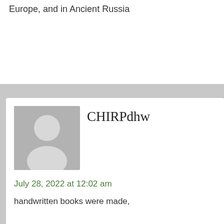Europe, and in Ancient Russia
CHIRPdhw
July 28, 2022 at 12:02 am
handwritten books were made,
Independentkli
July 28, 2022 at 12:22 am
books in ancient times was papyrus